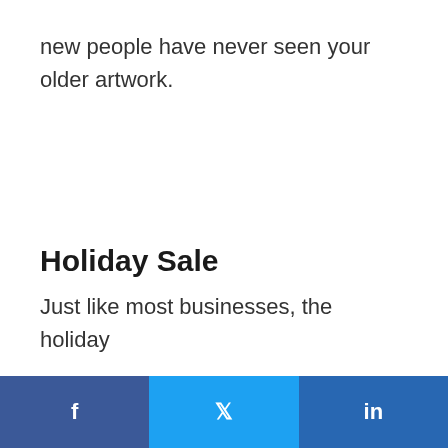new people have never seen your older artwork.
Holiday Sale
Just like most businesses, the holiday
f  🐦  in